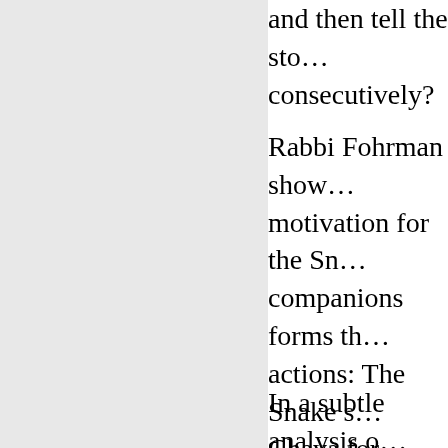and then tell the sto consecutively?
Rabbi Fohrman show motivation for the Sn companions forms th actions: The Snake s Chava for himself – i kingdom. Rabbi Fohr he also demonstrate
In a subtle analysis o eating from the Tree desire overcomes us Chava moves the Tre significance of what "all" the other trees; adds a prohibition on